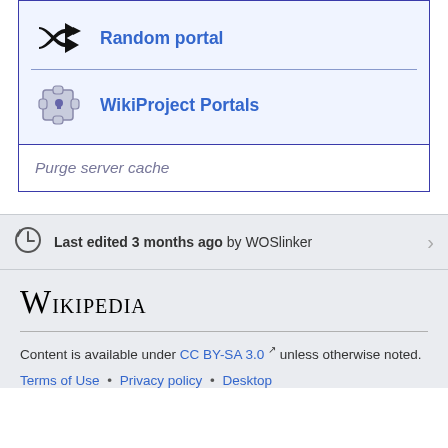Random portal
WikiProject Portals
Purge server cache
Last edited 3 months ago by WOSlinker
[Figure (logo): Wikipedia wordmark logo in serif font]
Content is available under CC BY-SA 3.0 unless otherwise noted.
Terms of Use • Privacy policy • Desktop